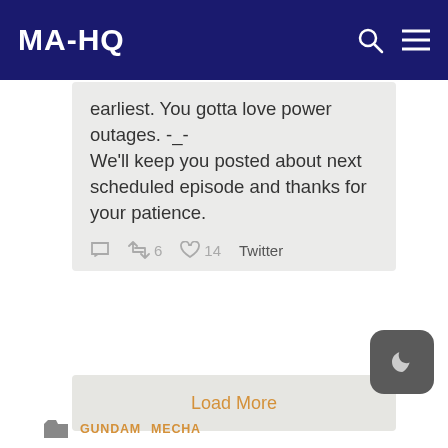MAHQ
earliest. You gotta love power outages. -_-
We'll keep you posted about next scheduled episode and thanks for your patience.
6  14  Twitter
Load More
GUNDAM  MECHA